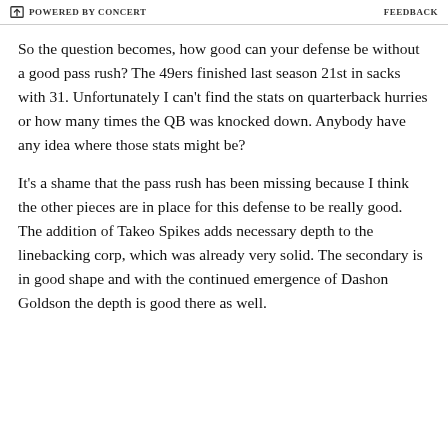POWERED BY CONCERT    FEEDBACK
So the question becomes, how good can your defense be without a good pass rush?  The 49ers finished last season 21st in sacks with 31.  Unfortunately I can't find the stats on quarterback hurries or how many times the QB was knocked down.  Anybody have any idea where those stats might be?
It's a shame that the pass rush has been missing because I think the other pieces are in place for this defense to be really good.  The addition of Takeo Spikes adds necessary depth to the linebacking corp, which was already very solid.  The secondary is in good shape and with the continued emergence of Dashon Goldson the depth is good there as well.